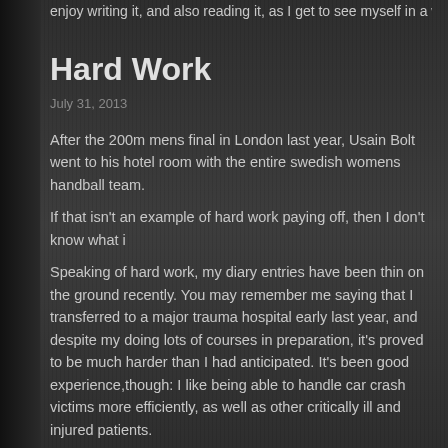enjoy writing it, and also reading it, as I get to see myself in a way tha
Hard Work
July 31, 2013
After the 200m mens final in London last year, Usain Bolt went to his hotel room with the entire swedish womens handball team. If that isn't an example of hard work paying off, then I don't know what i Speaking of hard work, my diary entries have been thin on the ground recently. You may remember me saying that I transferred to a major trauma hospital early last year, and despite my doing lots of courses in preparation, it's proved to be much harder than I had anticipated. It's been good experience,though: I like being able to handle car crash victims more efficiently, as well as other critically ill and injured patients. However, the intensity of the environment, never finishing on time and often not getting to eat or drink during a shift was starting to take its tol During the first six months, I was only barely coping. While nothing overtly disastrous happened, it was quite clear that I had some